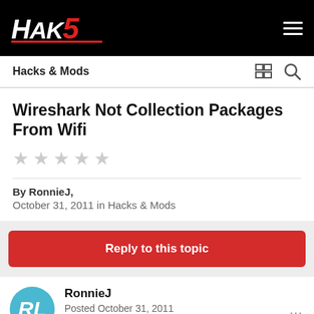Hak5
Hacks & Mods
Wireshark Not Collection Packages From Wifi
By RonnieJ, October 31, 2011 in Hacks & Mods
Reply to this topic
RonnieJ
Posted October 31, 2011